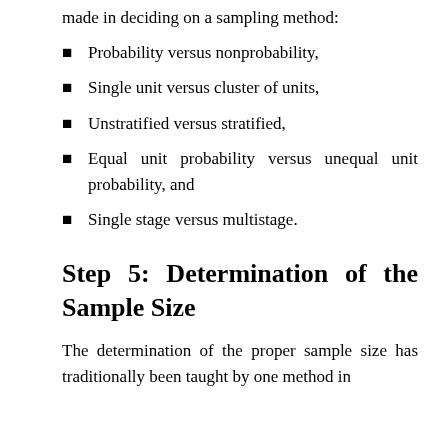made in deciding on a sampling method:
Probability versus nonprobability,
Single unit versus cluster of units,
Unstratified versus stratified,
Equal unit probability versus unequal unit probability, and
Single stage versus multistage.
Step 5: Determination of the Sample Size
The determination of the proper sample size has traditionally been taught by one method in